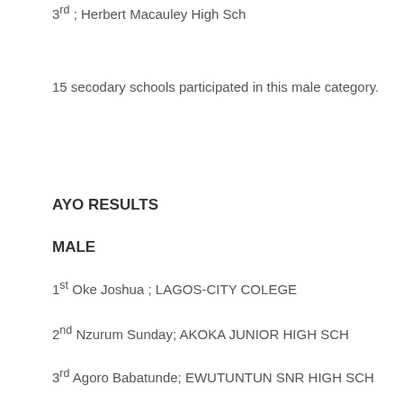3rd ; Herbert Macauley High Sch
15 secodary schools participated in this male category.
AYO RESULTS
MALE
1st Oke Joshua ; LAGOS-CITY COLEGE
2nd Nzurum Sunday; AKOKA JUNIOR HIGH SCH
3rd Agoro Babatunde; EWUTUNTUN SNR HIGH SCH